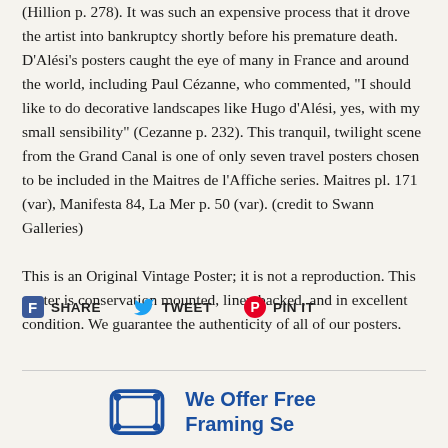(Hillion p. 278). It was such an expensive process that it drove the artist into bankruptcy shortly before his premature death. D'Alési's posters caught the eye of many in France and around the world, including Paul Cézanne, who commented, "I should like to do decorative landscapes like Hugo d'Alési, yes, with my small sensibility" (Cezanne p. 232). This tranquil, twilight scene from the Grand Canal is one of only seven travel posters chosen to be included in the Maitres de l'Affiche series. Maitres pl. 171 (var), Manifesta 84, La Mer p. 50 (var). (credit to Swann Galleries)
This is an Original Vintage Poster; it is not a reproduction. This poster is conservation mounted, linen backed, and in excellent condition. We guarantee the authenticity of all of our posters.
[Figure (other): Social sharing buttons: Facebook Share, Twitter Tweet, Pinterest Pin It]
[Figure (logo): We Offer Free framing service logo/icon with rounded rectangle frame icon in blue]